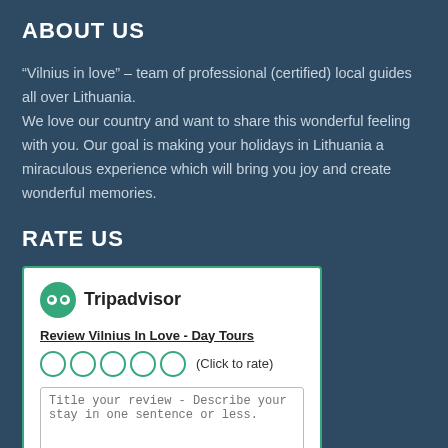ABOUT US
“Vilnius in love” – team of professional (certified) local guides all over Lithuania.
We love our country and want to share this wonderful feeling with you. Our goal is making your holidays in Lithuania a miraculous experience which will bring you joy and create wonderful memories.
RATE US
[Figure (screenshot): Tripadvisor widget with logo, review link 'Review Vilnius In Love - Day Tours', five empty circle star rating with '(Click to rate)' text, and a textarea with placeholder 'Title your review - Describe your stay in one sentence or less.']